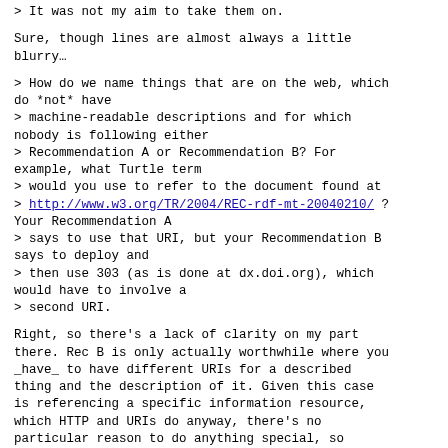> It was not my aim to take them on.
Sure, though lines are almost always a little blurry…
> How do we name things that are on the web, which do *not* have
> machine-readable descriptions and for which nobody is following either
> Recommendation A or Recommendation B? For example, what Turtle term
> would you use to refer to the document found at
> http://www.w3.org/TR/2004/REC-rdf-mt-20040210/ ? Your Recommendation A
> says to use that URI, but your Recommendation B says to deploy and
> then use 303 (as is done at dx.doi.org), which would have to involve a
> second URI.
Right, so there's a lack of clarity on my part there. Rec B is only actually worthwhile where you _have_ to have different URIs for a described thing and the description of it. Given this case is referencing a specific information resource, which HTTP and URIs do anyway, there's no particular reason to do anything special, so you're hitting Rec A by default.
> This is the thing for entities that do not...